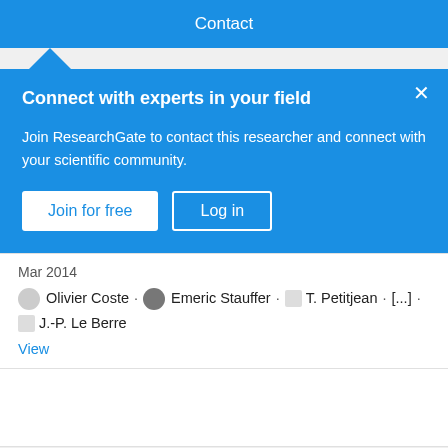Contact
Connect with experts in your field
Join ResearchGate to contact this researcher and connect with your scientific community.
Join for free   Log in
Mar 2014
Olivier Coste · Emeric Stauffer · T. Petitjean · [...] · J.-P. Le Berre
View
Network